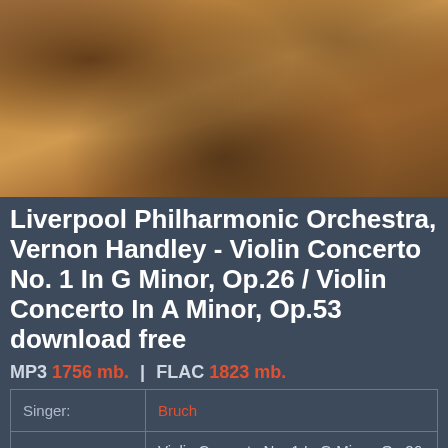[Figure (photo): Album cover photo showing musicians/orchestra in a warm-toned vintage photograph]
Liverpool Philharmonic Orchestra, Vernon Handley - Violin Concerto No. 1 In G Minor, Op.26 / Violin Concerto In A Minor, Op.53 download free
MP3 1756 mb. | FLAC 1823 mb.
| Field | Value |
| --- | --- |
| Singer: | Bruch |
| Album title: | Violin Concerto No. 1 In G Minor, Op.26 / Violin Concerto In A Minor, Op.53 |
| Country: | UK & Europe |
| Released: | 1990 |